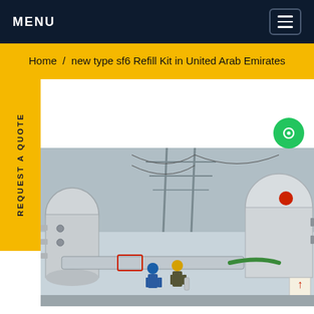MENU
Home / new type sf6 Refill Kit in United Arab Emirates
REQUEST A QUOTE
[Figure (photo): Industrial electrical substation with large pipe equipment and workers in hard hats and safety gear inspecting machinery. Electrical towers and cables visible in background.]